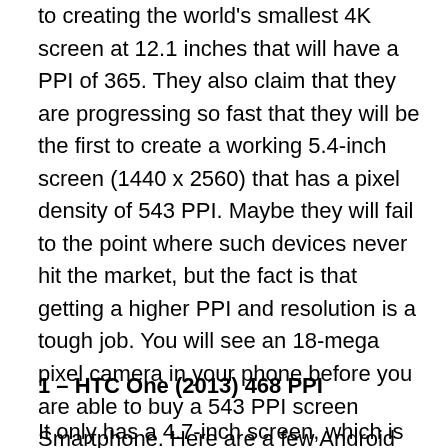to creating the world's smallest 4K screen at 12.1 inches that will have a PPI of 365. They also claim that they are progressing so fast that they will be the first to create a working 5.4-inch screen (1440 x 2560) that has a pixel density of 543 PPI. Maybe they will fail to the point where such devices never hit the market, but the fact is that getting a higher PPI and resolution is a tough job. You will see an 18-mega pixel camera in your phone before you are able to buy a 543 PPI screen Smartphone. Here are a few Android phones ranked by their PPI rating.
1 – HTC One (2013)  468 PPI
It only has a 4.7-inch screen, which is good